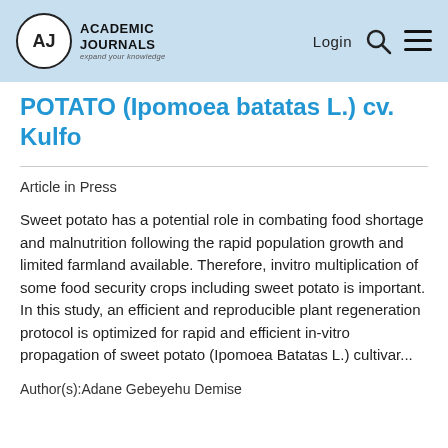Academic Journals — Login
POTATO (Ipomoea batatas L.) cv. Kulfo
Article in Press
Sweet potato has a potential role in combating food shortage and malnutrition following the rapid population growth and limited farmland available. Therefore, invitro multiplication of some food security crops including sweet potato is important. In this study, an efficient and reproducible plant regeneration protocol is optimized for rapid and efficient in-vitro propagation of sweet potato (Ipomoea Batatas L.) cultivar...
Author(s):Adane Gebeyehu Demise